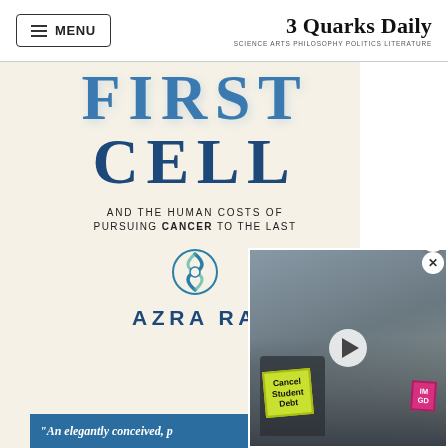MENU | 3 Quarks Daily — SCIENCE ARTS PHILOSOPHY POLITICS LITERATURE
[Figure (photo): Book cover of 'The First Cell: And the Human Costs of Pursuing Cancer to the Last' by Azra Raza, with large blue text on cream background and a publisher logo, with a blue bar at bottom reading 'An elegantly conceived, p...']
[Figure (photo): Video overlay thumbnail showing protest scene with people holding signs including 'Cancel Student Debt' in yellow-green, with a play button in the center]